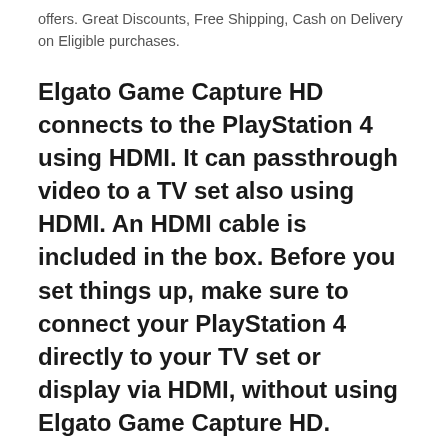offers. Great Discounts, Free Shipping, Cash on Delivery on Eligible purchases.
Elgato Game Capture HD connects to the PlayStation 4 using HDMI. It can passthrough video to a TV set also using HDMI. An HDMI cable is included in the box. Before you set things up, make sure to connect your PlayStation 4 directly to your TV set or display via HDMI, without using Elgato Game Capture HD.
It's easy for parents or guardians to ensure gaming is safer, more secure and fun for every family member, using the flexible parental controls on PS4, or via the web on your PC and smartphone. Whether you have a brand-new PS4 or want to activate Parental Controls on an existing console, follow